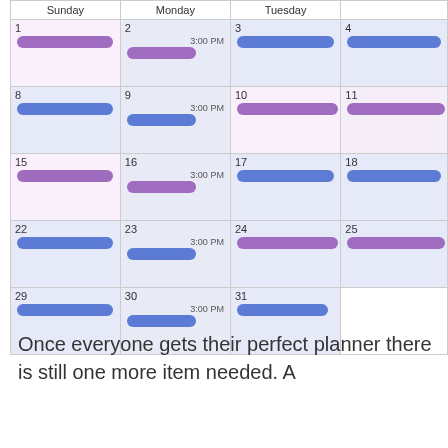[Figure (other): Monthly calendar view showing Sunday, Monday, Tuesday, and partial Wednesday/Thursday columns. Weeks show dates 1-4, 8-11, 15-18, 22-25, 29-31. Each week row contains purple event bars spanning Sunday through Monday, and blue event bars spanning Monday (after 3:00 PM) through Tuesday. Monday cells show '3:00 PM' time label.]
Once everyone gets their perfect planner there is still one more item needed. A